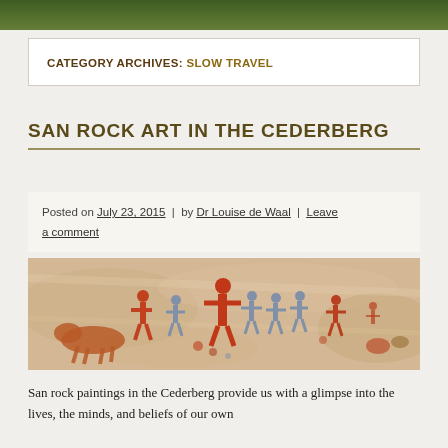CATEGORY ARCHIVES: SLOW TRAVEL
SAN ROCK ART IN THE CEDERBERG
Posted on July 23, 2015 | by Dr Louise de Waal | Leave a comment
[Figure (photo): San rock art painting showing human and animal figures in red and grey on a pale rock surface]
San rock paintings in the Cederberg provide us with a glimpse into the lives, the minds, and beliefs of our own